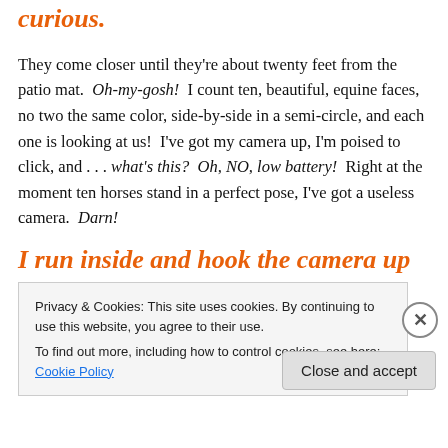curious.
They come closer until they're about twenty feet from the patio mat.  Oh-my-gosh!  I count ten, beautiful, equine faces, no two the same color, side-by-side in a semi-circle, and each one is looking at us!  I've got my camera up, I'm poised to click, and . . . what's this?  Oh, NO, low battery!  Right at the moment ten horses stand in a perfect pose, I've got a useless camera.  Darn!
I run inside and hook the camera up to
Privacy & Cookies: This site uses cookies. By continuing to use this website, you agree to their use.
To find out more, including how to control cookies, see here: Cookie Policy
Close and accept